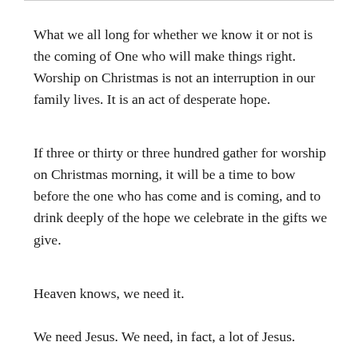What we all long for whether we know it or not is the coming of One who will make things right. Worship on Christmas is not an interruption in our family lives. It is an act of desperate hope.
If three or thirty or three hundred gather for worship on Christmas morning, it will be a time to bow before the one who has come and is coming, and to drink deeply of the hope we celebrate in the gifts we give.
Heaven knows, we need it.
We need Jesus. We need, in fact, a lot of Jesus.